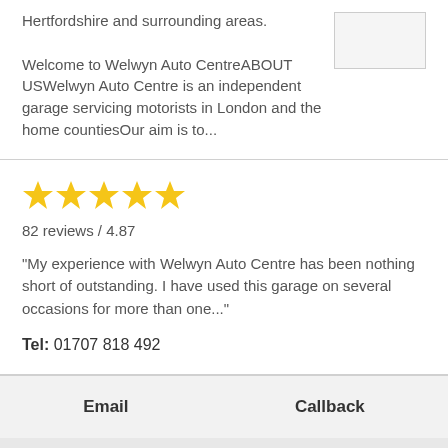Hertfordshire and surrounding areas.
Welcome to Welwyn Auto CentreABOUT USWelwyn Auto Centre is an independent garage servicing motorists in London and the home countiesOur aim is to...
[Figure (other): Small image box / logo placeholder]
[Figure (other): Five gold star rating icons]
82 reviews / 4.87
"My experience with Welwyn Auto Centre has been nothing short of outstanding. I have used this garage on several occasions for more than one..."
Tel: 01707 818 492
Email    Callback